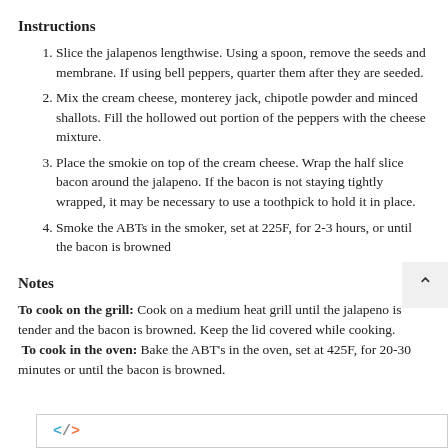Instructions
Slice the jalapenos lengthwise. Using a spoon, remove the seeds and membrane. If using bell peppers, quarter them after they are seeded.
Mix the cream cheese, monterey jack, chipotle powder and minced shallots. Fill the hollowed out portion of the peppers with the cheese mixture.
Place the smokie on top of the cream cheese. Wrap the half slice bacon around the jalapeno. If the bacon is not staying tightly wrapped, it may be necessary to use a toothpick to hold it in place.
Smoke the ABTs in the smoker, set at 225F, for 2-3 hours, or until the bacon is browned
Notes
To cook on the grill: Cook on a medium heat grill until the jalapeno is tender and the bacon is browned. Keep the lid covered while cooking. To cook in the oven: Bake the ABT’s in the oven, set at 425F, for 20-30 minutes or until the bacon is browned.
[Figure (other): Code snippet icon showing </> in colored text]